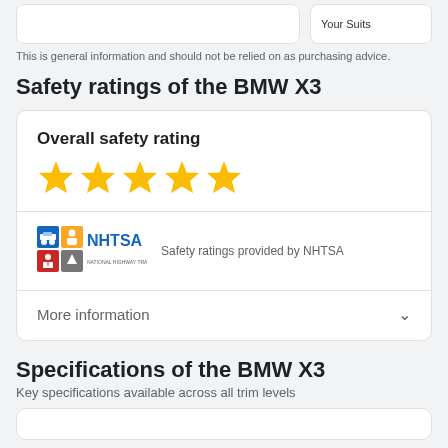[Figure (screenshot): Two partial card elements at the top of the page, with partial text 'Your Suits' on the right card]
This is general information and should not be relied on as purchasing advice.
Safety ratings of the BMW X3
Overall safety rating
[Figure (other): Five gold/yellow stars representing overall safety rating]
[Figure (logo): NHTSA logo with colored icons]
Safety ratings provided by NHTSA
More information
Specifications of the BMW X3
Key specifications available across all trim levels